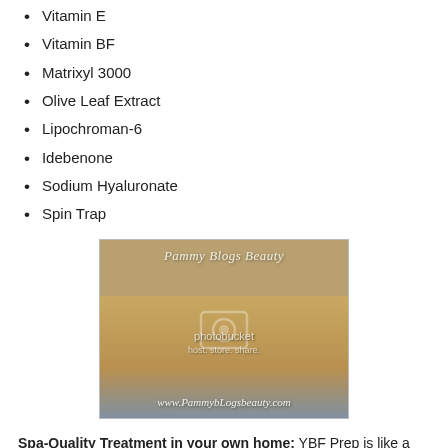Vitamin E
Vitamin BF
Matrixyl 3000
Olive Leaf Extract
Lipochroman-6
Idebenone
Sodium Hyaluronate
Spin Trap
[Figure (photo): Open jar of YBF cream product with golden/orange cream inside, lid beside it. Watermarked with 'Pammy Blogs Beauty' and 'www.PammybLogsbeauty.com'. Photobucket watermark overlay visible.]
Spa-Quality Treatment in your own home: YBF Prep is like a scrub and mask in one product! But, not your "typical"